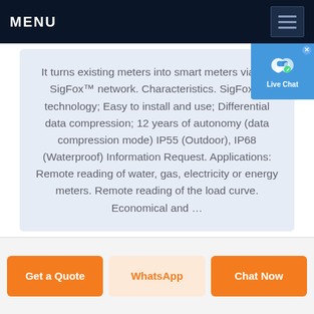MENU
It turns existing meters into smart meters via the SigFox™ network. Characteristics. SigFox™ technology; Easy to install and use; Differential data compression; 12 years of autonomy (data compression mode) IP55 (Outdoor), IP68 (Waterproof) Information Request. Applications: Remote reading of water, gas, electricity or energy meters. Remote reading of the load curve. Economical and ...
Get a Quote
WhatsApp
Chat Now